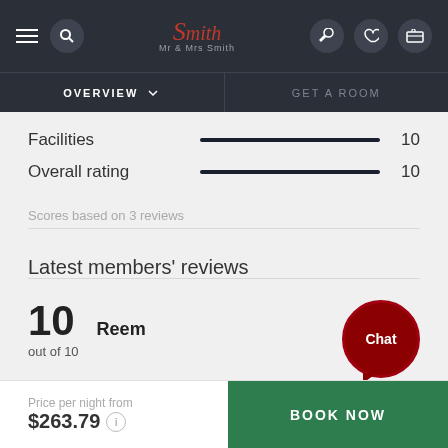Mr & Mrs Smith — OVERVIEW / GET A ROOM navigation
Facilities 10
Overall rating 10
Scores based on 3 reviews
Latest members' reviews
10 out of 10 — Reem
Price per night from $263.79 BOOK NOW